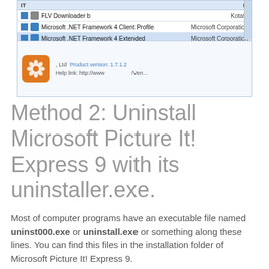[Figure (screenshot): Screenshot of Windows Programs and Features list showing FLV Downloader b, Microsoft .NET Framework 4 Client Profile, Microsoft .NET Framework 4 Extended entries with publisher names (Kotato, Microsoft Corporation), and a detail panel at bottom showing an orange flower icon, product version 1.7.1.2, and help link http://www...]
Method 2: Uninstall Microsoft Picture It! Express 9 with its uninstaller.exe.
Most of computer programs have an executable file named uninst000.exe or uninstall.exe or something along these lines. You can find this files in the installation folder of Microsoft Picture It! Express 9.